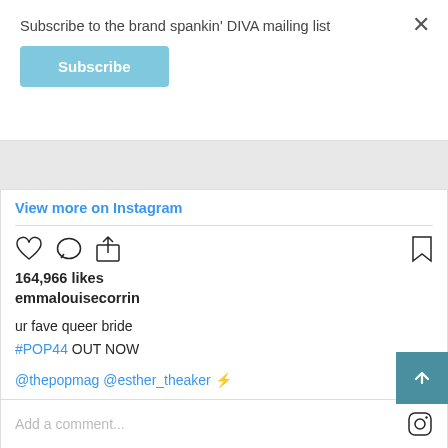Subscribe to the brand spankin' DIVA mailing list
Subscribe
View more on Instagram
164,966 likes
emmalouisecorrin
ur fave queer bride
#POP44 OUT NOW
@thepopmag @esther_theaker ⚡
view all 1,472 comments
Add a comment...